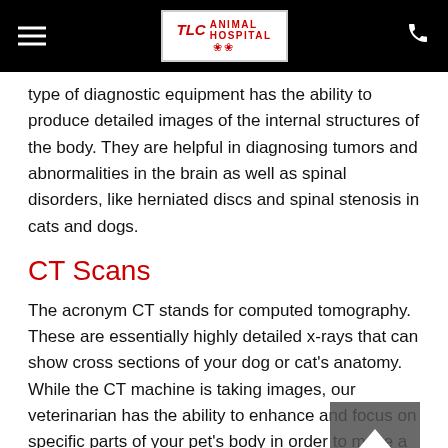TLC Animal Hospital
type of diagnostic equipment has the ability to produce detailed images of the internal structures of the body. They are helpful in diagnosing tumors and abnormalities in the brain as well as spinal disorders, like herniated discs and spinal stenosis in cats and dogs.
CT Scans
The acronym CT stands for computed tomography. These are essentially highly detailed x-rays that can show cross sections of your dog or cat's anatomy. While the CT machine is taking images, our veterinarian has the ability to enhance and focus on specific parts of your pet's body in order to make a detailed and accurate diagnosis.
Diagnosing Your Pet's Ailment or